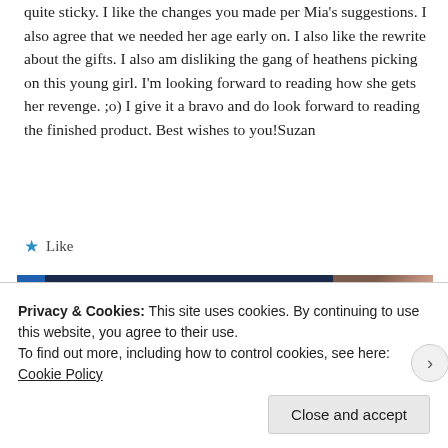quite sticky. I like the changes you made per Mia's suggestions. I also agree that we needed her age early on. I also like the rewrite about the gifts. I also am disliking the gang of heathens picking on this young girl. I'm looking forward to reading how she gets her revenge. ;o) I give it a bravo and do look forward to reading the finished product. Best wishes to you!Suzan
★ Like
[Figure (screenshot): Advertisement banner with dark navy background showing bold italic text 'THAT MEANS BUSINESS.' with a photo of hands on the right side]
REPORT THIS AD
Privacy & Cookies: This site uses cookies. By continuing to use this website, you agree to their use.
To find out more, including how to control cookies, see here: Cookie Policy
Close and accept